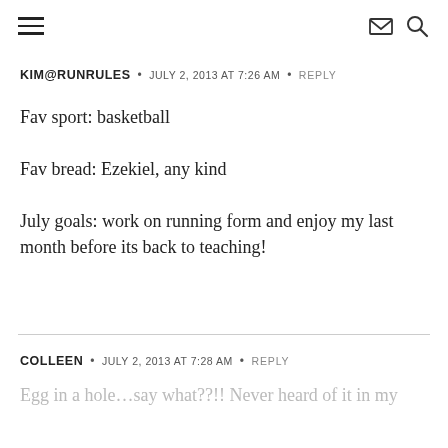≡  [mail icon] [search icon]
KIM@RUNRULES  •  JULY 2, 2013 AT 7:26 AM  •  REPLY
Fav sport: basketball
Fav bread: Ezekiel, any kind
July goals: work on running form and enjoy my last month before its back to teaching!
COLLEEN  •  JULY 2, 2013 AT 7:28 AM  •  REPLY
Egg in a hole...say what??!! Never heard of it in my